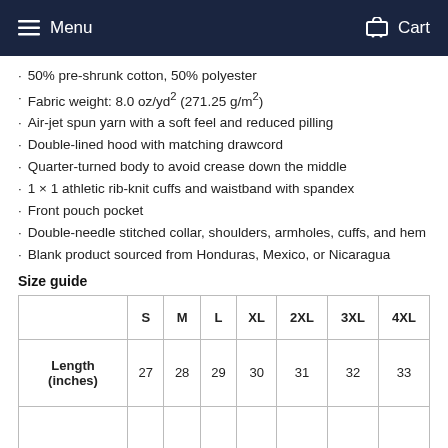Menu  Cart
50% pre-shrunk cotton, 50% polyester
Fabric weight: 8.0 oz/yd² (271.25 g/m²)
Air-jet spun yarn with a soft feel and reduced pilling
Double-lined hood with matching drawcord
Quarter-turned body to avoid crease down the middle
1 × 1 athletic rib-knit cuffs and waistband with spandex
Front pouch pocket
Double-needle stitched collar, shoulders, armholes, cuffs, and hem
Blank product sourced from Honduras, Mexico, or Nicaragua
Size guide
|  | S | M | L | XL | 2XL | 3XL | 4XL |
| --- | --- | --- | --- | --- | --- | --- | --- |
| Length (inches) | 27 | 28 | 29 | 30 | 31 | 32 | 33 |